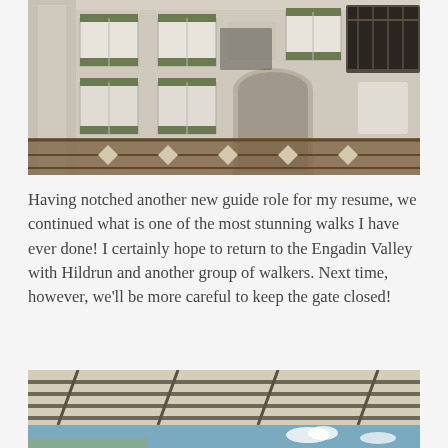[Figure (photo): Exterior facade of a traditional Alpine building with light stucco walls, green shuttered windows, decorative fresco panels, an arched entryway, ornate ironwork balcony, and wooden railing in foreground]
Having notched another new guide role for my resume, we continued what is one of the most stunning walks I have ever done! I certainly hope to return to the Engadin Valley with Hildrun and another group of walkers. Next time, however, we'll be more careful to keep the gate closed!
[Figure (photo): View from below of a canvas or fabric awning/pergola with blue sky visible beyond, possibly at an outdoor terrace or restaurant setting]